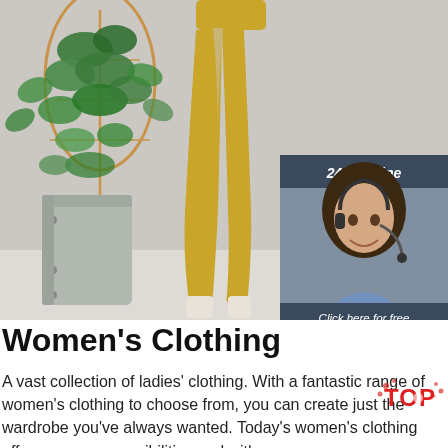[Figure (photo): Background photo showing lower body of woman in mustard/yellow trousers with a potted plant with trellis on left side, light grey background. Right side has a 24/7 online chat widget with a female customer support agent wearing a headset.]
Women's Clothing
A vast collection of ladies' clothing. With a fantastic range of women's clothing to choose from, you can create just the wardrobe you've always wanted. Today's women's clothing offers so many possibilities and with